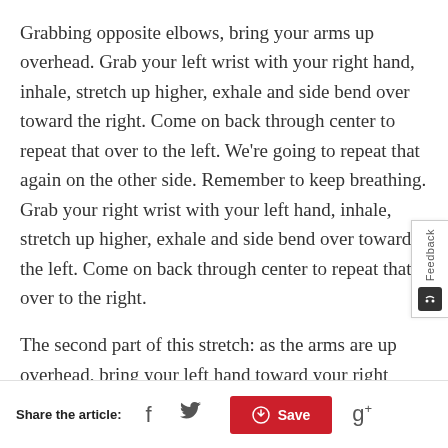Grabbing opposite elbows, bring your arms up overhead. Grab your left wrist with your right hand, inhale, stretch up higher, exhale and side bend over toward the right. Come on back through center to repeat that over to the left. We're going to repeat that again on the other side. Remember to keep breathing. Grab your right wrist with your left hand, inhale, stretch up higher, exhale and side bend over toward the left. Come on back through center to repeat that over to the right.
The second part of this stretch: as the arms are up overhead, bring your left hand toward your right shoulder or behind your head somewhere. Lean
Share the article:  f  [twitter]  Save  g+